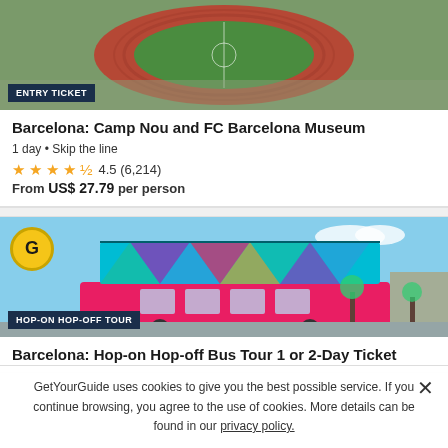[Figure (photo): Aerial view of Camp Nou stadium in Barcelona showing the football pitch and surrounding seating areas]
ENTRY TICKET
Barcelona: Camp Nou and FC Barcelona Museum
1 day • Skip the line
4.5 (6,214)
From US$ 27.79 per person
[Figure (photo): Colorful hop-on hop-off double-decker bus in Barcelona with geometric patterned design in teal, pink, purple and blue, with buildings in background]
HOP-ON HOP-OFF TOUR
Barcelona: Hop-on Hop-off Bus Tour 1 or 2-Day Ticket
GetYourGuide uses cookies to give you the best possible service. If you continue browsing, you agree to the use of cookies. More details can be found in our privacy policy.